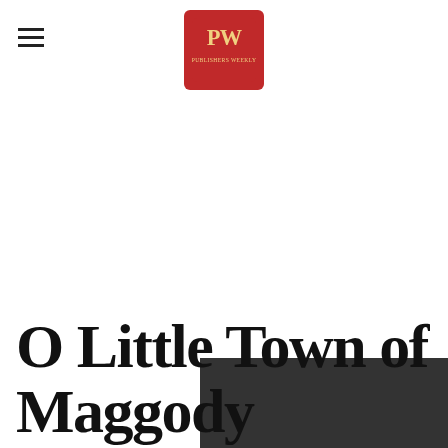PW (Publishers Weekly logo)
O Little Town of Maggody